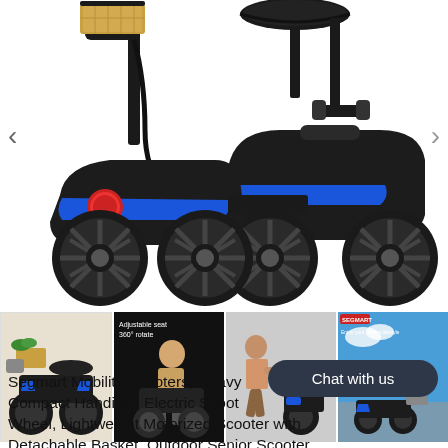[Figure (photo): Main product photo of a black and blue 4-wheel electric mobility scooter with tiller/handlebar, cushioned seat, and large black tires. Navigation arrows on left and right sides.]
[Figure (photo): Thumbnail strip of 4 smaller product images: (1) scooter with basket and accessories, (2) man sitting on disassembled/folded scooter with text overlay, (3) woman pushing/pulling scooter, (4) scooter lifestyle promotional image]
Segmart Mobility Scooters, Heavy Compact Handicap Electric Scooter Wheel, Lightweight Motorized Scooter with Detachable Basket, Outdoor Senior Scooter
Chat with us